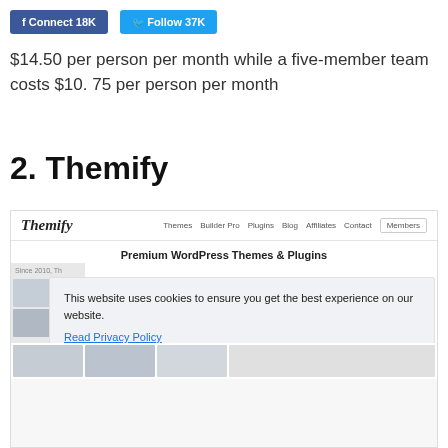[Figure (screenshot): Facebook Connect 18K and Twitter Follow 37K social buttons]
$14.50 per person per month while a five-member team costs $10. 75 per person per month
2. Themify
[Figure (screenshot): Screenshot of Themify website showing navigation bar with Themes, Builder Pro, Plugins, Blog, Affiliates, Contact, Members links, and Premium WordPress Themes & Plugins heading, with a cookie consent overlay showing 'This website uses cookies to ensure you get the best experience on our website. Read Privacy Policy' and a 'Got it!' button]